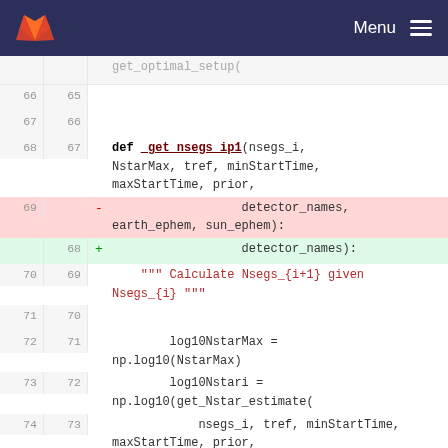[Figure (screenshot): GitLab navigation bar with logo and Menu hamburger icon on dark navy background]
get_optimal_setup(
66  65  (blank)
67  66  (blank)
68  67   def _get_nsegs_ip1(nsegs_i, NstarMax, tref, minStartTime, maxStartTime, prior,
69  -    detector_names, earth_ephem, sun_ephem):
68  +    detector_names):
70  69       """ Calculate Nsegs_{i+1} given Nsegs_{i} """
71  70  (blank)
72  71       log10NstarMax = np.log10(NstarMax)
73  72       log10Nstari = np.log10(get_Nstar_estimate(
74  73           nsegs_i, tref, minStartTime, maxStartTime, prior,
75  -    detector_names, earth_ephem, sun_ephem))